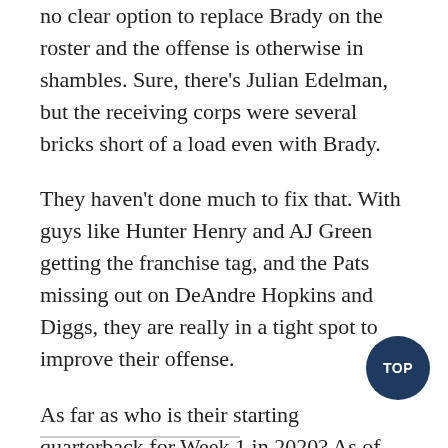no clear option to replace Brady on the roster and the offense is otherwise in shambles. Sure, there’s Julian Edelman, but the receiving corps were several bricks short of a load even with Brady.
They haven’t done much to fix that. With guys like Hunter Henry and AJ Green getting the franchise tag, and the Pats missing out on DeAndre Hopkins and Diggs, they are really in a tight spot to improve their offense.
As far as who is their starting quarterback for Week 1 in 2020? As of right now, it looks like Jarrett Stidham could be the guy. Options like Andy Dalton and Cam Newton are still out there, though.